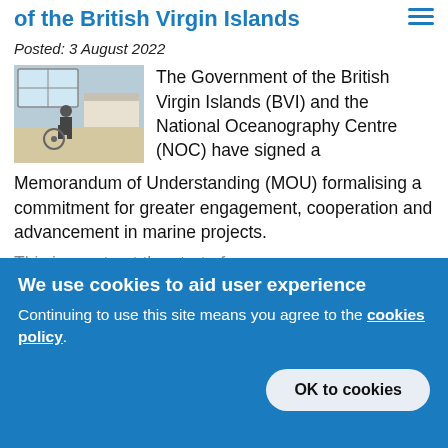of the British Virgin Islands
Posted: 3 August 2022
[Figure (photo): Interior photo of a vessel or marine research station with equipment and a person visible]
The Government of the British Virgin Islands (BVI) and the National Oceanography Centre (NOC) have signed a Memorandum of Understanding (MOU) formalising a commitment for greater engagement, cooperation and advancement in marine projects.
This is a partial line cut off by the cookie banner
We use cookies to aid user experience
Continuing to use this site means you agree to the cookies policy
OK to cookies